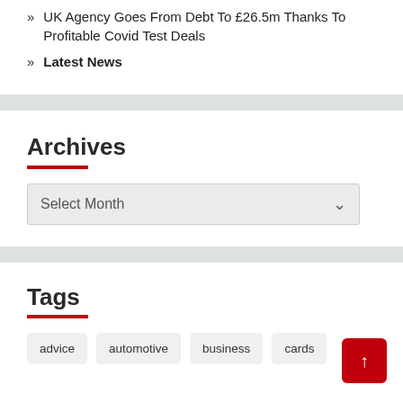UK Agency Goes From Debt To £26.5m Thanks To Profitable Covid Test Deals
Latest News
Archives
Select Month
Tags
advice
automotive
business
cards